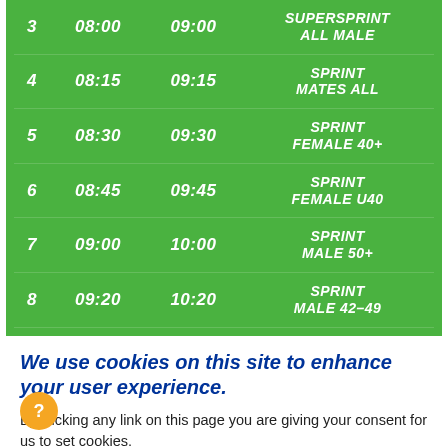| # | START | FINISH | CATEGORY |
| --- | --- | --- | --- |
| 3 | 08:00 | 09:00 | SUPERSPRINT ALL MALE |
| 4 | 08:15 | 09:15 | SPRINT MATES ALL |
| 5 | 08:30 | 09:30 | SPRINT FEMALE 40+ |
| 6 | 08:45 | 09:45 | SPRINT FEMALE U40 |
| 7 | 09:00 | 10:00 | SPRINT MALE 50+ |
| 8 | 09:20 | 10:20 | SPRINT MALE 42-49 |
We use cookies on this site to enhance your user experience.
By clicking any link on this page you are giving your consent for us to set cookies.